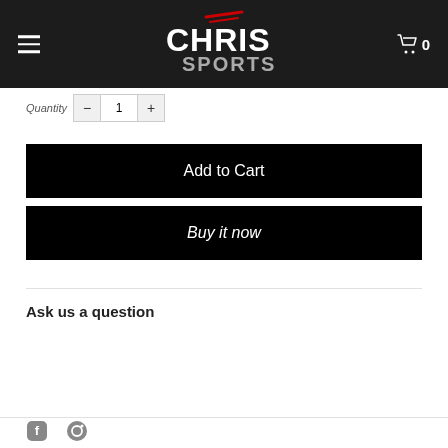Chris Sports - Navigation header with logo and cart
Quantity selector
Add to Cart
Buy it now
Ask us a question